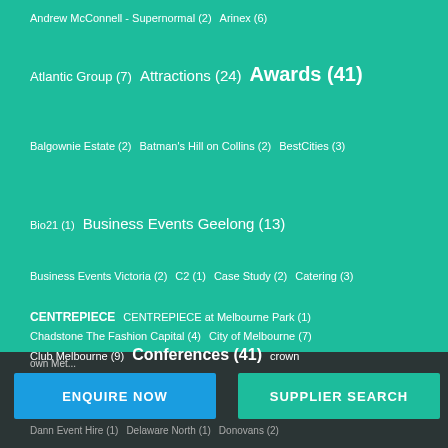Andrew McConnell - Supernormal (2)  Arinex (6)
Atlantic Group (7)  Attractions (24)  Awards (41)
Balgownie Estate (2)  Batman's Hill on Collins (2)  BestCities (3)
Bio21 (1)  Business Events Geelong (13)
Business Events Victoria (2)  C2 (1)  Case Study (2)  Catering (3)
CENTREPIECE  CENTREPIECE at Melbourne Park (1)
Chadstone The Fashion Capital (4)  City of Melbourne (7)
Club Melbourne (9)  Conferences (41)  crown
own Met...
Dann Event Hire (1)  Delaware North (1)  Donovans (2)
ENQUIRE NOW
SUPPLIER SEARCH